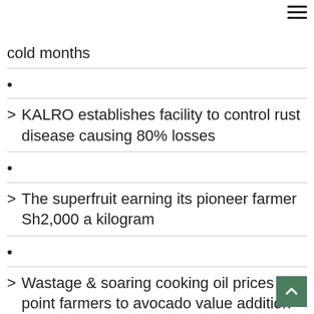[Figure (other): Hamburger menu icon (three horizontal lines) in top-right corner]
cold months
•
> KALRO establishes facility to control rust disease causing 80% losses
•
> The superfruit earning its pioneer farmer Sh2,000 a kilogram
•
> Wastage & soaring cooking oil prices point farmers to avocado value addition
•